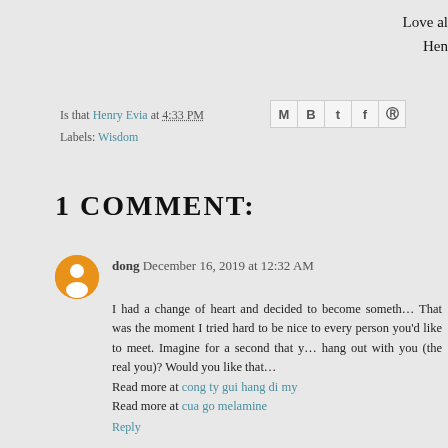Love al
Hen
Is that Henry Evia at 4:33 PM
Labels: Wisdom
1 COMMENT:
dong December 16, 2019 at 12:32 AM
I had a change of heart and decided to become someth... That was the moment I tried hard to be nice to every person you'd like to meet. Imagine for a second that y... hang out with you (the real you)? Would you like that... Read more at cong ty gui hang di my
Read more at cua go melamine
Reply